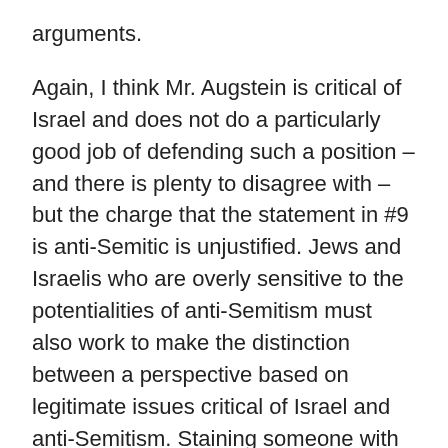arguments.
Again, I think Mr. Augstein is critical of Israel and does not do a particularly good job of defending such a position – and there is plenty to disagree with – but the charge that the statement in #9 is anti-Semitic is unjustified. Jews and Israelis who are overly sensitive to the potentialities of anti-Semitism must also work to make the distinction between a perspective based on legitimate issues critical of Israel and anti-Semitism. Staining someone with the charge of anti-Semitism, when it is only a knee-jerk response and not clearly justified, shuts down legitimate debate about Israel as a political entity and strangles the communication process.
We have to do the hard work and make the distinction between anti-Semitism and criticism of Israel on the basis